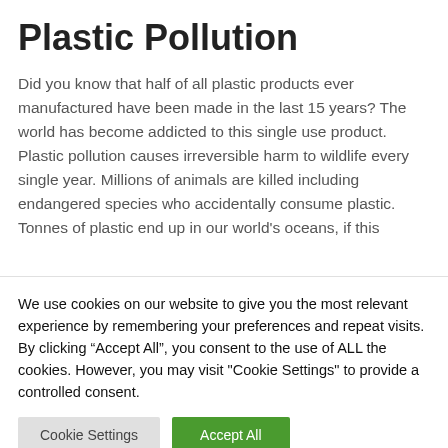Plastic Pollution
Did you know that half of all plastic products ever manufactured have been made in the last 15 years? The world has become addicted to this single use product. Plastic pollution causes irreversible harm to wildlife every single year. Millions of animals are killed including endangered species who accidentally consume plastic. Tonnes of plastic end up in our world's oceans, if this
We use cookies on our website to give you the most relevant experience by remembering your preferences and repeat visits. By clicking “Accept All”, you consent to the use of ALL the cookies. However, you may visit "Cookie Settings" to provide a controlled consent.
Cookie Settings | Accept All